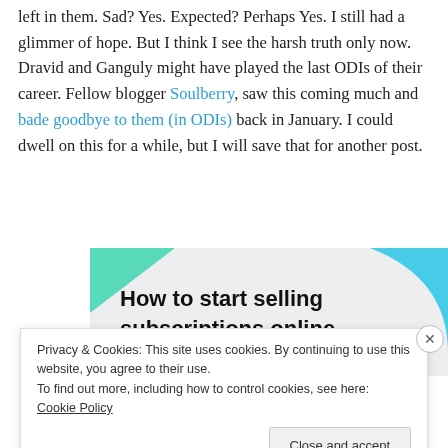left in them. Sad? Yes. Expected? Perhaps Yes. I still had a glimmer of hope. But I think I see the harsh truth only now. Dravid and Ganguly might have played the last ODIs of their career. Fellow blogger Soulberry, saw this coming much and bade goodbye to them (in ODIs) back in January. I could dwell on this for a while, but I will save that for another post.
[Figure (illustration): Advertisement banner: light grey background with teal/cyan geometric decorative shapes, bold text 'How to start selling subscriptions online']
Privacy & Cookies: This site uses cookies. By continuing to use this website, you agree to their use.
To find out more, including how to control cookies, see here: Cookie Policy